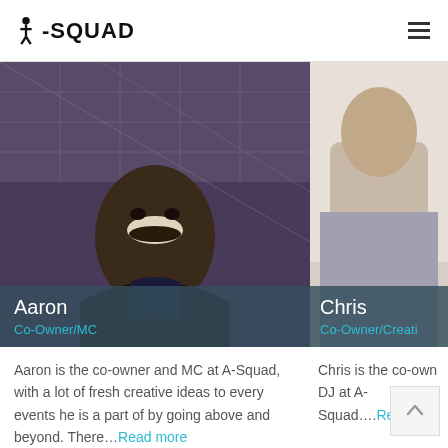A-SQUAD
[Figure (photo): Photo of Aaron smiling, looking up toward the camera from below, indoors with decorative ceiling tiles visible. Dark jacket.]
Aaron
Co-Owner/MC
[Figure (photo): Partial photo of Chris, showing upper body against a light wall background.]
Chris
Co-Owner/Creati...
Aaron is the co-owner and MC at A-Squad, with a lot of fresh creative ideas to every events he is a part of by going above and beyond. There...Read more
Chris is the co-own DJ at A-Squad....Re